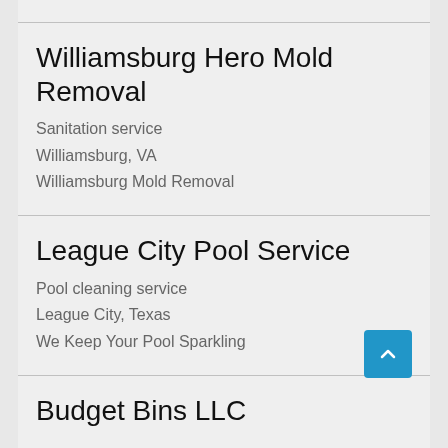Williamsburg Hero Mold Removal
Sanitation service
Williamsburg, VA
Williamsburg Mold Removal
League City Pool Service
Pool cleaning service
League City, Texas
We Keep Your Pool Sparkling
Budget Bins LLC